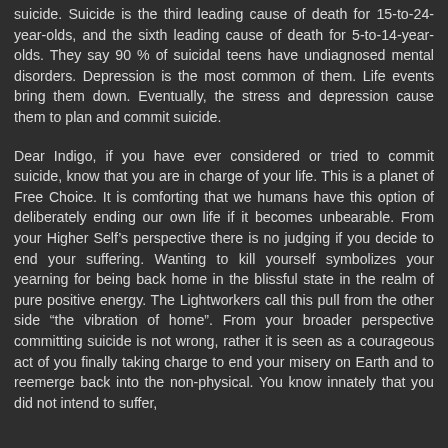suicide. Suicide is the third leading cause of death for 15-to-24-year-olds, and the sixth leading cause of death for 5-to-14-year-olds. They say 90 % of suicidal teens have undiagnosed mental disorders. Depression is the most common of them. Life events bring them down. Eventually, the stress and depression cause them to plan and commit suicide.
Dear Indigo, if you have ever considered or tried to commit suicide, know that you are in charge of your life. This is a planet of Free Choice. It is comforting that we humans have this option of deliberately ending our own life if it becomes unbearable. From your Higher Self’s perspective there is no judging if you decide to end your suffering. Wanting to kill yourself symbolizes your yearning for being back home in the blissful state in the realm of pure positive energy. The Lightworkers call this pull from the other side “the vibration of home”. From your broader perspective committing suicide is not wrong, rather it is seen as a courageous act of you finally taking charge to end your misery on Earth and to reemerge back into the non-physical. You know innately that you did not intend to suffer,